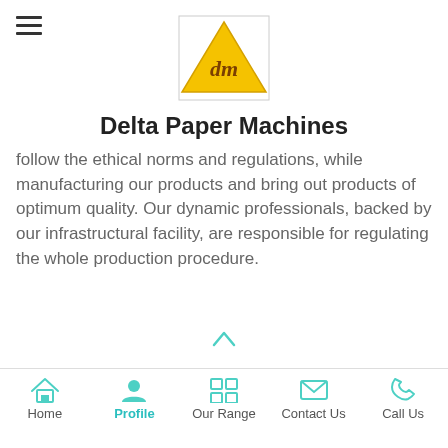Delta Paper Machines
[Figure (logo): Delta Paper Machines logo: yellow triangle with 'dm' letters inside]
Delta Paper Machines
follow the ethical norms and regulations, while manufacturing our products and bring out products of optimum quality. Our dynamic professionals, backed by our infrastructural facility, are responsible for regulating the whole production procedure.
Our Team
We have a team of expert professionals having years of experience and in-depth knowledge of the specified industry. Our workforce is armed with commitment & zeal and has made our journey commendable and praiseworthy. Following a
Home  Profile  Our Range  Contact Us  Call Us